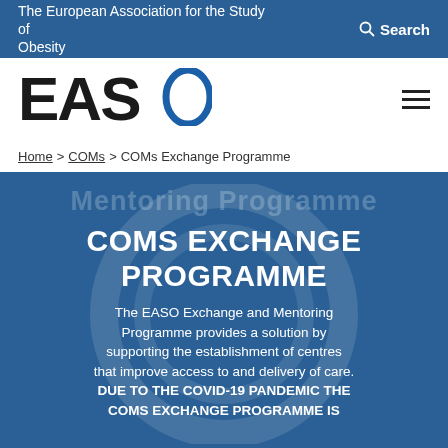The European Association for the Study of Obesity
[Figure (logo): EASO logo — large bold letters E, A, S in black followed by a blue oval O symbol]
Home > COMs > COMs Exchange Programme
COMS EXCHANGE PROGRAMME
The EASO Exchange and Mentoring Programme provides a solution by supporting the establishment of centres that improve access to and delivery of care. DUE TO THE COVID-19 PANDEMIC THE COMS EXCHANGE PROGRAMME IS